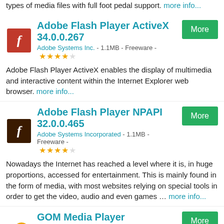types of media files with full foot pedal support. more info...
Adobe Flash Player ActiveX 34.0.0.267
Adobe Systems Inc. - 1.1MB - Freeware - ★★★★☆
Adobe Flash Player ActiveX enables the display of multimedia and interactive content within the Internet Explorer web browser. more info...
Adobe Flash Player NPAPI 32.0.0.465
Adobe Systems Incorporated - 1.1MB - Freeware - ★★★★☆
Nowadays the Internet has reached a level where it is, in huge proportions, accessed for entertainment. This is mainly found in the form of media, with most websites relying on special tools in order to get the video, audio and even games … more info...
GOM Media Player 2.3.78.5343
GRETECH CORP - 27MB - Freeware - ★★★★☆
Gom Player is a multimedia player that can play most of the differently encoded video formats that include AVI, DAT, MPEG, DivX, XviD, and plus more) with its own built-in